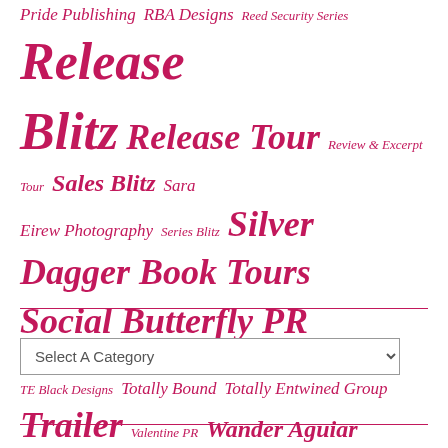Pride Publishing RBA Designs Reed Security Series Release Blitz Release Tour Review & Excerpt Tour Sales Blitz Sara Eirew Photography Series Blitz Silver Dagger Book Tours Social Butterfly PR Standalone Teaser Reveal TE Black Designs Totally Bound Totally Entwined Group Trailer Valentine PR Wander Aguiar Photography Wicked by Design Wildfire Marketing Solutions Xpresso Book Tours
Select A Category